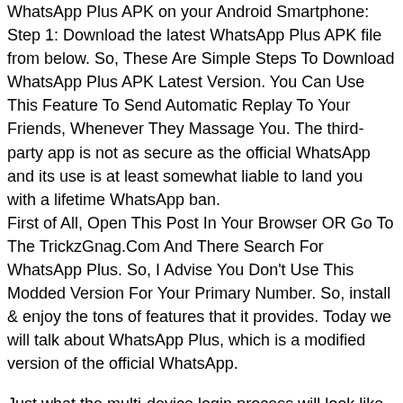WhatsApp Plus APK on your Android Smartphone: Step 1: Download the latest WhatsApp Plus APK file from below. So, These Are Simple Steps To Download WhatsApp Plus APK Latest Version. You Can Use This Feature To Send Automatic Replay To Your Friends, Whenever They Massage You. The third-party app is not as secure as the official WhatsApp and its use is at least somewhat liable to land you with a lifetime WhatsApp ban. First of All, Open This Post In Your Browser OR Go To The TrickzGnag.Com And There Search For WhatsApp Plus. So, I Advise You Don't Use This Modded Version For Your Primary Number. So, install & enjoy the tons of features that it provides. Today we will talk about WhatsApp Plus, which is a modified version of the official WhatsApp.
Just what the multi-device login process will look like within WhatsApp is another question entirely though. You, Will, Get Some